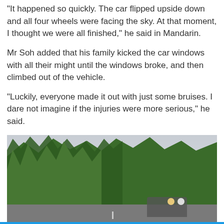"It happened so quickly. The car flipped upside down and all four wheels were facing the sky. At that moment, I thought we were all finished," he said in Mandarin.
Mr Soh added that his family kicked the car windows with all their might until the windows broke, and then climbed out of the vehicle.
"Luckily, everyone made it out with just some bruises. I dare not imagine if the injuries were more serious," he said.
[Figure (photo): Outdoor road scene with palm trees and tropical vegetation on the left, overcast grey sky, and motorcyclists visible on the road in the lower right area.]